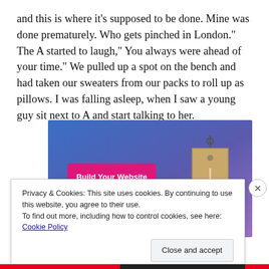and this is where it’s supposed to be done. Mine was done prematurely. Who gets pinched in London.” The A started to laugh,” You always were ahead of your time.” We pulled up a spot on the bench and had taken our sweaters from our packs to roll up as pillows. I was falling asleep, when I saw a young guy sit next to A and start talking to her.
[Figure (illustration): An advertisement banner with a blue-to-purple gradient background, showing a pink/magenta 'Build Your Website' button on the left and a tan/beige price tag graphic on the right.]
Privacy & Cookies: This site uses cookies. By continuing to use this website, you agree to their use.
To find out more, including how to control cookies, see here: Cookie Policy
Close and accept